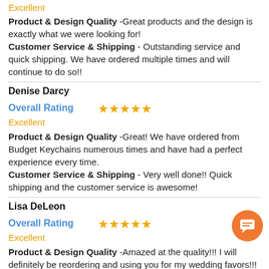Excellent
Product & Design Quality -Great products and the design is exactly what we were looking for!
Customer Service & Shipping - Outstanding service and quick shipping. We have ordered multiple times and will continue to do so!!
Denise Darcy
Overall Rating ★★★★★
Excellent
Product & Design Quality -Great! We have ordered from Budget Keychains numerous times and have had a perfect experience every time.
Customer Service & Shipping - Very well done!! Quick shipping and the customer service is awesome!
Lisa DeLeon
Overall Rating ★★★★★
Excellent
Product & Design Quality -Amazed at the quality!!! I will definitely be reordering and using you for my wedding favors!!!